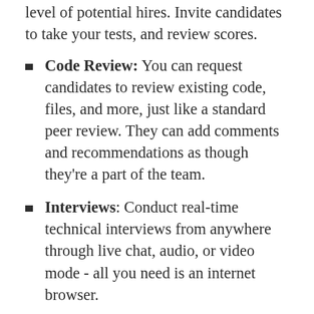level of potential hires. Invite candidates to take your tests, and review scores.
Code Review: You can request candidates to review existing code, files, and more, just like a standard peer review. They can add comments and recommendations as though they're a part of the team.
Interviews: Conduct real-time technical interviews from anywhere through live chat, audio, or video mode - all you need is an internet browser.
Benchmarking: Ascertain a candidate's skill level by ranking their test scores against relevant results from your candidate pool or from HackerRank's entire community of over